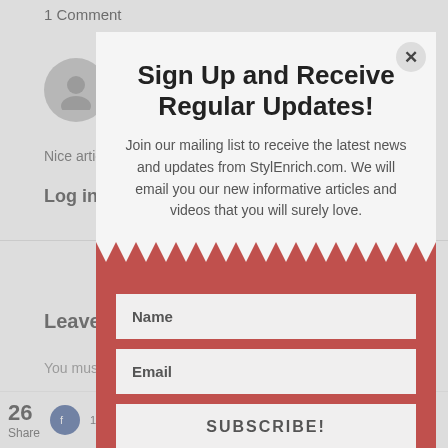1 Comment
StyEnrich
June 10, 2017 at 5:14 pm
Nice article
Log in to Reply
Leave A Reply
You must be logged in to post a comment.
[Figure (screenshot): Newsletter signup modal overlay on a blog comment page. Modal has title 'Sign Up and Receive Regular Updates!', descriptive text about mailing list, a zigzag red divider, Name and Email input fields, and a SUBSCRIBE! button. Background shows blog comment section with avatar, date, comment text, Leave A Reply heading, and social share bar with 26 shares.]
Sign Up and Receive Regular Updates!
Join our mailing list to receive the latest news and updates from StylEnrich.com. We will email you our new informative articles and videos that you will surely love.
Name
Email
SUBSCRIBE!